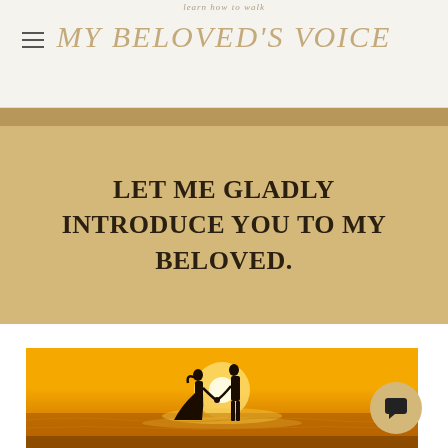learn how to walk
MY BELOVED'S VOICE
LET ME GLADLY INTRODUCE YOU TO MY BELOVED.
[Figure (photo): A couple holding hands on a beach at sunset, silhouetted against a bright orange and yellow sky with the sun on the horizon. The woman wears a wedding dress, the man is in casual clothes. Waves wash up on the shore.]